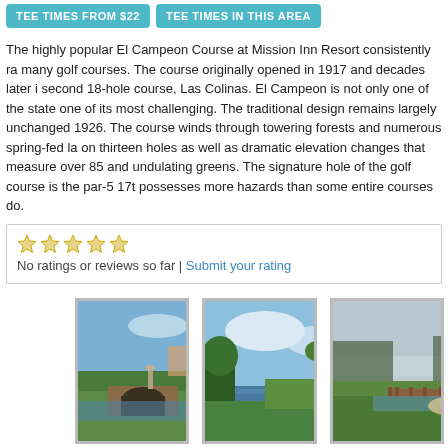TEE TIMES FROM $22  TEE TIMES IN THIS AREA
The highly popular El Campeon Course at Mission Inn Resort consistently ra many golf courses. The course originally opened in 1917 and decades later i second 18-hole course, Las Colinas. El Campeon is not only one of the state one of its most challenging. The traditional design remains largely unchanged 1926. The course winds through towering forests and numerous spring-fed la on thirteen holes as well as dramatic elevation changes that measure over 85 and undulating greens. The signature hole of the golf course is the par-5 17th possesses more hazards than some entire courses do.
No ratings or reviews so far | Submit your rating
[Figure (photo): Golf course photo 1 - stone bridge over water with green fairway]
[Figure (photo): Golf course photo 2 - water hazard with trees and clouds]
[Figure (photo): Golf course photo 3 - misty green fairway with wooden bridge]
Golf course details
See